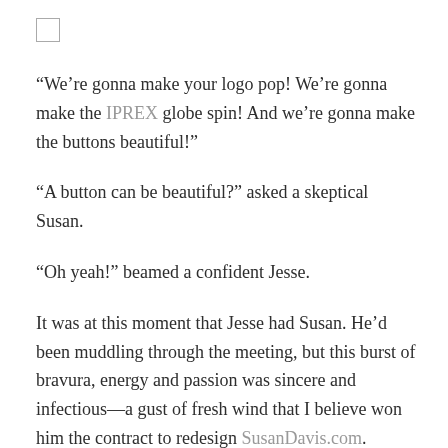[Figure (other): Small empty checkbox square in top-left corner]
“We’re gonna make your logo pop! We’re gonna make the IPREX globe spin! And we’re gonna make the buttons beautiful!”
“A button can be beautiful?” asked a skeptical Susan.
“Oh yeah!” beamed a confident Jesse.
It was at this moment that Jesse had Susan. He’d been muddling through the meeting, but this burst of bravura, energy and passion was sincere and infectious—a gust of fresh wind that I believe won him the contract to redesign SusanDavis.com.
Similarly, when I myself interviewed with Susan, things coasted along for the first 15 minutes. She asked